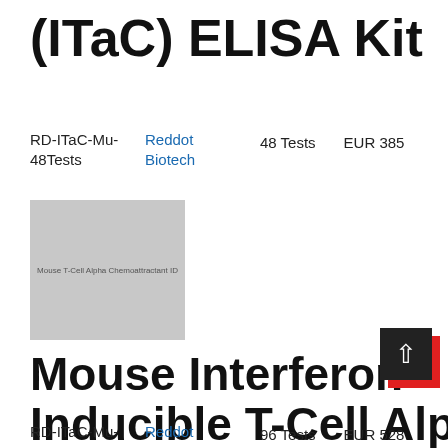(ITaC) ELISA Kit
RD-ITaC-Mu-48Tests   Reddot Biotech   48 Tests   EUR 385
[Figure (photo): Product image placeholder for Mouse Interferon Inducible T-Cell Alpha Chemoattractant (ITaC) ELISA Kit]
Mouse Interferon Inducible T-Cell Alpha Chemoattractant (ITaC) ELISA Kit
RD-ITaC-Mu-   Reddot   96 Tests   EUR 528